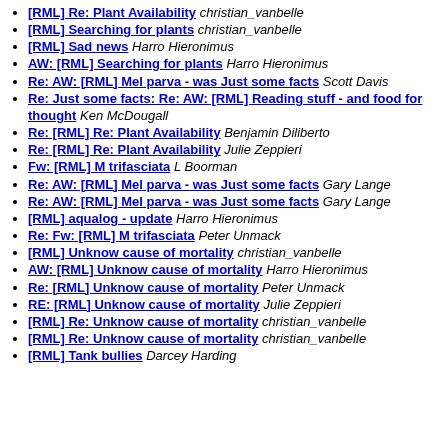[RML] Re: Plant Availability christian_vanbelle
[RML] Searching for plants christian_vanbelle
[RML] Sad news Harro Hieronimus
AW: [RML] Searching for plants Harro Hieronimus
Re: AW: [RML] Mel parva - was Just some facts Scott Davis
Re: Just some facts: Re: AW: [RML] Reading stuff - and food for thought Ken McDougall
Re: [RML] Re: Plant Availability Benjamin Diliberto
Re: [RML] Re: Plant Availability Julie Zeppieri
Fw: [RML] M trifasciata L Boorman
Re: AW: [RML] Mel parva - was Just some facts Gary Lange
Re: AW: [RML] Mel parva - was Just some facts Gary Lange
[RML] aqualog - update Harro Hieronimus
Re: Fw: [RML] M trifasciata Peter Unmack
[RML] Unknow cause of mortality christian_vanbelle
AW: [RML] Unknow cause of mortality Harro Hieronimus
Re: [RML] Unknow cause of mortality Peter Unmack
RE: [RML] Unknow cause of mortality Julie Zeppieri
[RML] Re: Unknow cause of mortality christian_vanbelle
[RML] Re: Unknow cause of mortality christian_vanbelle
[RML] Tank bullies Darcey Harding